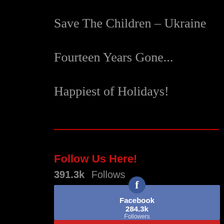Save The Children – Ukraine
Fourteen Years Gone...
Happiest of Holidays!
Follow Us Here!
391.3k  Follows
[Figure (infographic): Facebook social media widget with blue background, Facebook 'f' icon in a dark circle, showing Facebook with 284.3k Followers]
[Figure (infographic): Partial red social media widget at bottom of page]